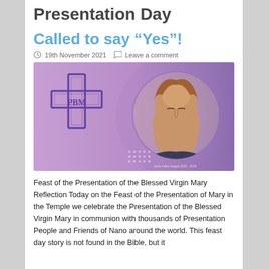Presentation Day
Called to say “Yes”!
19th November 2021   Leave a comment
[Figure (photo): Purple/violet gradient background with a decorative cross logo on the left and a circular portrait of the Virgin Mary (painting) on the right, with white dot pattern in the lower center.]
Feast of the Presentation of the Blessed Virgin Mary Reflection Today on the Feast of the Presentation of Mary in the Temple we celebrate the Presentation of the Blessed Virgin Mary in communion with thousands of Presentation People and Friends of Nano around the world. This feast day story is not found in the Bible, but it